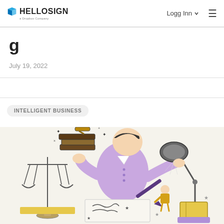HELLOSIGN — a Dropbox Company | Logg Inn | menu
July 19, 2022
INTELLIGENT BUSINESS
[Figure (illustration): Illustration showing a large cartoon person in purple carrying a stack of books with a gavel on top, a balance scale of justice, a document being signed with a pen, a small person writing, and a desk lamp illuminating a yellow book — legal/business themed line art.]